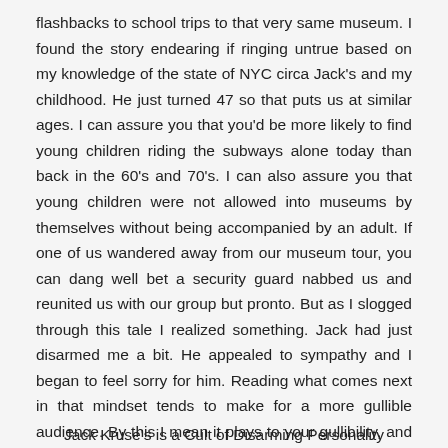flashbacks to school trips to that very same museum.  I found the story endearing if ringing untrue based on my knowledge of the state of NYC circa Jack's and my childhood.  He just turned 47 so that puts us at similar ages.  I can assure you that you'd be more likely to find young children riding the subways alone today than back in the 60's and 70's.  I can also assure you that young children were not allowed into museums by themselves without being accompanied by an adult.  If one of us wandered away from our museum tour, you can dang well bet a security guard nabbed us and reunited us with our group but pronto.  But as I slogged through this tale I realized something.  Jack had just disarmed me a bit.  He appealed to sympathy and I began to feel sorry for him.  Reading what comes next in that mindset tends to make for a more gullible audience.  By this I mean it plays to your gullibility, and disarmed of your common sense, it's easier to buy into what is about to come.
Jack Kruse's is a Cult of Disarming Personality